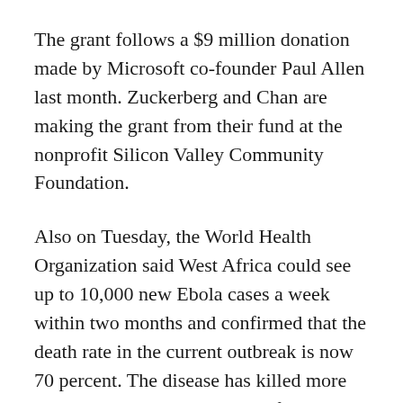The grant follows a $9 million donation made by Microsoft co-founder Paul Allen last month. Zuckerberg and Chan are making the grant from their fund at the nonprofit Silicon Valley Community Foundation.
Also on Tuesday, the World Health Organization said West Africa could see up to 10,000 new Ebola cases a week within two months and confirmed that the death rate in the current outbreak is now 70 percent. The disease has killed more than 4,000 people, nearly all of them in West Africa. The WHO has called the outbreak “the most severe, acute health emergency seen in modern times.”
“The most important step we can take is to stop Ebola at its source. The sooner the world comes together to help